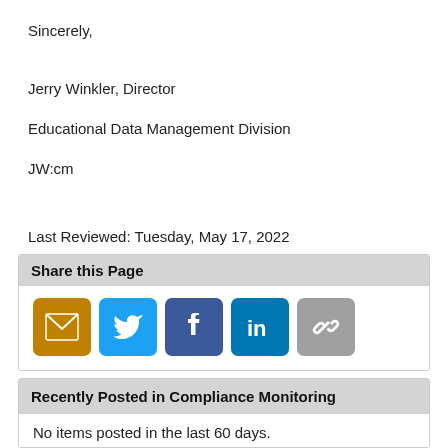Sincerely,
Jerry Winkler, Director
Educational Data Management Division
JW:cm
Last Reviewed: Tuesday, May 17, 2022
Share this Page
[Figure (infographic): Social sharing icons: Email (gold), Twitter (blue), Facebook (dark blue), LinkedIn (blue), Link (gray)]
Recently Posted in Compliance Monitoring
No items posted in the last 60 days.